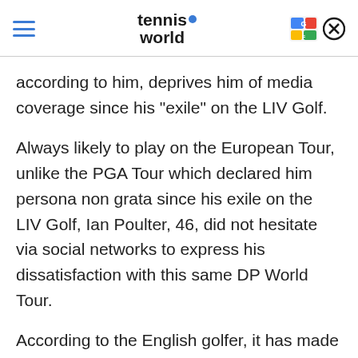Tennis World
according to him, deprives him of media coverage since his "exile" on the LIV Golf.
Always likely to play on the European Tour, unlike the PGA Tour which declared him persona non grata since his exile on the LIV Golf, Ian Poulter, 46, did not hesitate via social networks to express his dissatisfaction with this same DP World Tour.
According to the English golfer, it has made him something of an outcast, despite the fact that he can still take part in tournaments in the 2022 season. According to him, and as our colleagues